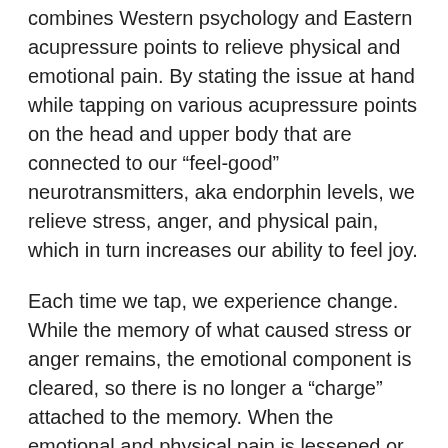combines Western psychology and Eastern acupressure points to relieve physical and emotional pain. By stating the issue at hand while tapping on various acupressure points on the head and upper body that are connected to our “feel-good” neurotransmitters, aka endorphin levels, we relieve stress, anger, and physical pain, which in turn increases our ability to feel joy.
Each time we tap, we experience change. While the memory of what caused stress or anger remains, the emotional component is cleared, so there is no longer a “charge” attached to the memory. When the emotional and physical pain is lessened or completely gone, often it does not return. When it does, it can be tapped away again. Over time, the triggers that caused pain in the past do not have the same energy or power they once had to cause pain.